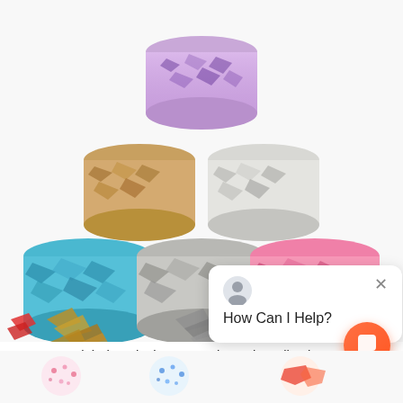[Figure (photo): Product photo showing six cylindrical clear containers filled with colorful crystal candy flakes arranged in a pyramid (purple on top, gold and white/silver in middle, teal/blue, silver/gray, and pink on bottom row), with scattered loose flakes in gold, silver, green, and teal below the containers on a white background. A chat popup overlay with 'How Can I Help?' text appears in the lower right of the image.]
Global Exclusive! Crystal Candy Collections
[Figure (photo): Three small product detail images partially visible at bottom of page showing colorful crystal candy arrangements.]